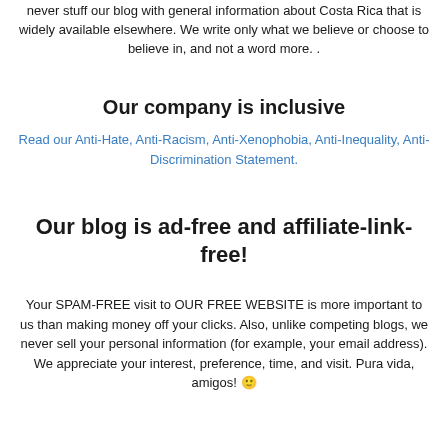never stuff our blog with general information about Costa Rica that is widely available elsewhere. We write only what we believe or choose to believe in, and not a word more. .
Our company is inclusive
Read our Anti-Hate, Anti-Racism, Anti-Xenophobia, Anti-Inequality, Anti-Discrimination Statement.
Our blog is ad-free and affiliate-link-free!
Your SPAM-FREE visit to OUR FREE WEBSITE is more important to us than making money off your clicks. Also, unlike competing blogs, we never sell your personal information (for example, your email address). We appreciate your interest, preference, time, and visit. Pura vida, amigos! 🙂